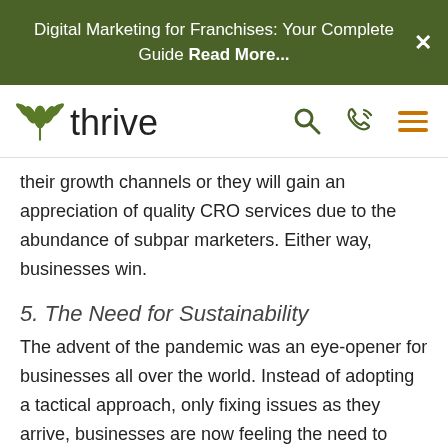Digital Marketing for Franchises: Your Complete Guide Read More...
[Figure (logo): Thrive logo with green leaf/plant icon and 'thrive' text, plus search, phone, and hamburger menu icons]
their growth channels or they will gain an appreciation of quality CRO services due to the abundance of subpar marketers. Either way, businesses win.
5. The Need for Sustainability
The advent of the pandemic was an eye-opener for businesses all over the world. Instead of adopting a tactical approach, only fixing issues as they arrive, businesses are now feeling the need to build a